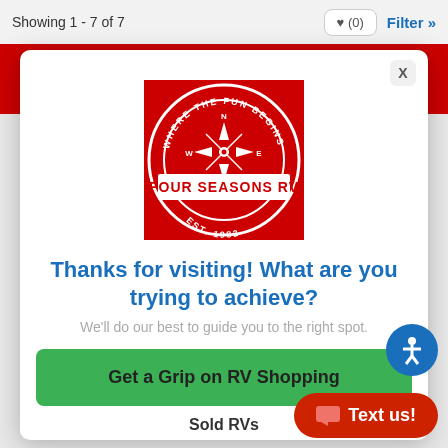Showing 1 - 7 of 7
[Figure (logo): Four Seasons RV logo — red square with compass rose and circular text 'WHERE THE FUN BEGINS' and 'EST. 1982']
Thanks for visiting! What are you trying to achieve?
We'll do our best to guide you to the right spot.
Get a Grip on RV Shopping
Sold RVs
Text us!